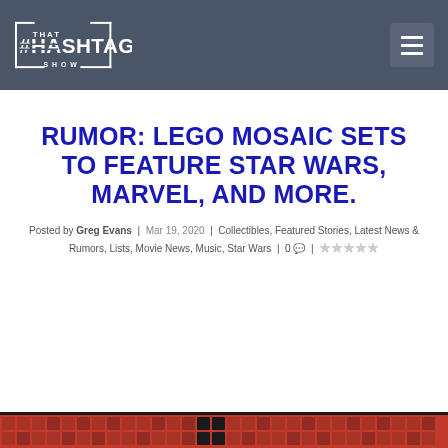That Hashtag Show — navigation header with logo and menu button
RUMOR: LEGO MOSAIC SETS TO FEATURE STAR WARS, MARVEL, AND MORE.
Posted by Greg Evans | Mar 19, 2020 | Collectibles, Featured Stories, Latest News & Rumors, Lists, Movie News, Music, Star Wars | 0 comments | (stars)
[Figure (photo): Bottom edge of a LEGO mosaic set with red and dark colored studs visible]